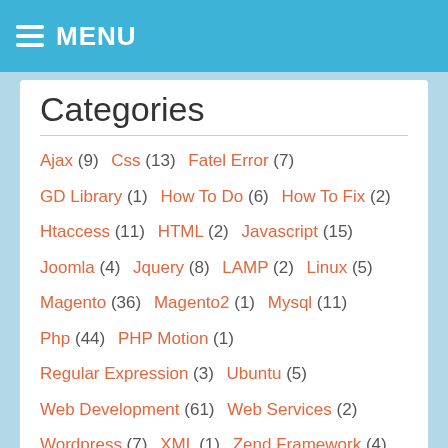MENU
Categories
Ajax (9)  Css (13)  Fatel Error (7)
GD Library (1)  How To Do (6)  How To Fix (2)
Htaccess (11)  HTML (2)  Javascript (15)
Joomla (4)  Jquery (8)  LAMP (2)  Linux (5)
Magento (36)  Magento2 (1)  Mysql (11)
Php (44)  PHP Motion (1)
Regular Expression (3)  Ubuntu (5)
Web Development (61)  Web Services (2)
Wordpress (7)  XML (1)  Zend Framework (4)